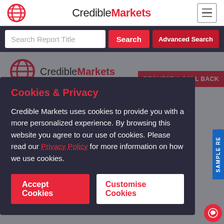CredibleMarkets
Search Report Title
[Figure (screenshot): CredibleMarkets website screenshot showing navigation, search bar, logo, and a cookies & privacy modal dialog with Accept Cookies and Customise Cookies buttons]
Cookies & Privacy
Credible Markets uses cookies to provide you with a more personalized experience. By browsing this website you agree to our use of cookies. Please read our Privacy Policy for more information on how we use cookies.
Accept Cookies
Customise Cookies
Get Discount
Free Sample Request